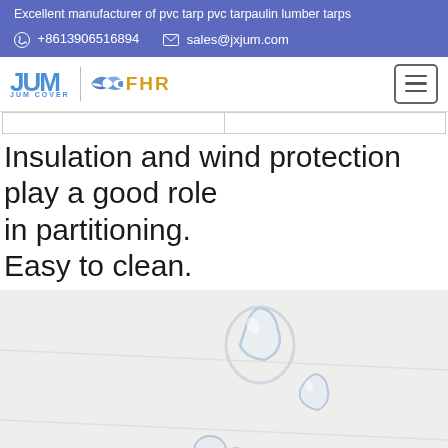Excellent manufacturer of pvc tarp pvc tarpaulin lumber tarps
+8613906516894   sales@jxjum.com
[Figure (logo): JUM COVER and FHR company logos with hamburger menu button]
Insulation and wind protection play a good role in partitioning. Easy to clean.
[Figure (photo): Close-up photo of water droplets beading on a white waterproof surface, demonstrating water repellency of the tarpaulin material]